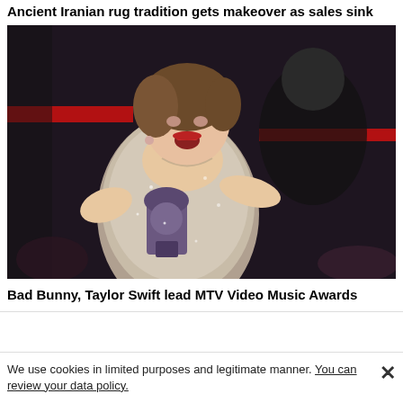Ancient Iranian rug tradition gets makeover as sales sink
[Figure (photo): A woman in a sparkling silver outfit holding an MTV Video Music Award trophy on stage, with red lighting in the background]
Bad Bunny, Taylor Swift lead MTV Video Music Awards
We use cookies in limited purposes and legitimate manner. You can review your data policy.